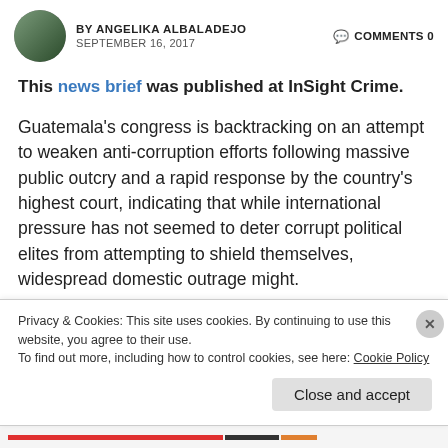BY ANGELIKA ALBALADEJO  COMMENTS 0  SEPTEMBER 16, 2017
This news brief was published at InSight Crime.
Guatemala's congress is backtracking on an attempt to weaken anti-corruption efforts following massive public outcry and a rapid response by the country's highest court, indicating that while international pressure has not seemed to deter corrupt political elites from attempting to shield themselves, widespread domestic outrage might.
Privacy & Cookies: This site uses cookies. By continuing to use this website, you agree to their use.
To find out more, including how to control cookies, see here: Cookie Policy